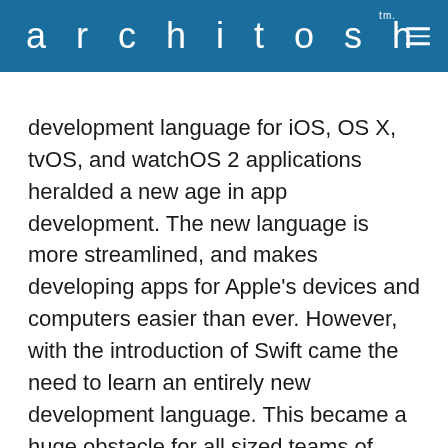architosh™
development language for iOS, OS X, tvOS, and watchOS 2 applications heralded a new age in app development. The new language is more streamlined, and makes developing apps for Apple's devices and computers easier than ever. However, with the introduction of Swift came the need to learn an entirely new development language. This became a huge obstacle for all sized teams of developers, due to the time it would take for developers to first learn the Swift language, and then to manually rewrite their Objective-C-based apps in Swift.